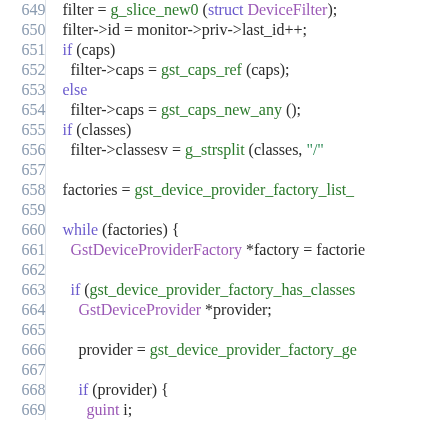Code listing lines 649–669 showing C source code for device filter and provider factory logic